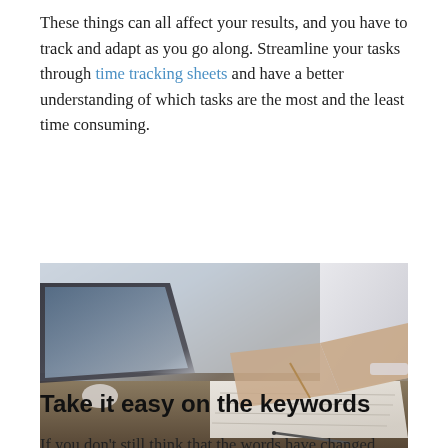These things can all affect your results, and you have to track and adapt as you go along. Streamline your tasks through time tracking sheets and have a better understanding of which tasks are the most and the least time consuming.
[Figure (photo): A photo of two people working at a desk with laptops open, one person writing on paper with a pen. Business/office setting with wooden desk.]
Take it easy on the keywords
If you don't still think that the words have changed...